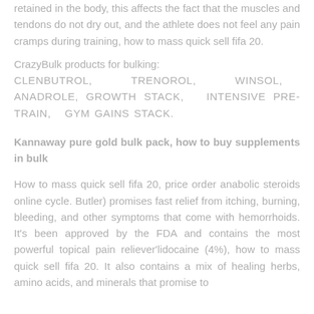retained in the body, this affects the fact that the muscles and tendons do not dry out, and the athlete does not feel any pain cramps during training, how to mass quick sell fifa 20.
CrazyBulk products for bulking: CLENBUTROL, TRENOROL, WINSOL, ANADROLE, GROWTH STACK, INTENSIVE PRE-TRAIN, GYM GAINS STACK.
Kannaway pure gold bulk pack, how to buy supplements in bulk
How to mass quick sell fifa 20, price order anabolic steroids online cycle. Butler) promises fast relief from itching, burning, bleeding, and other symptoms that come with hemorrhoids. It's been approved by the FDA and contains the most powerful topical pain reliever'lidocaine (4%), how to mass quick sell fifa 20. It also contains a mix of healing herbs, amino acids, and minerals that promise to